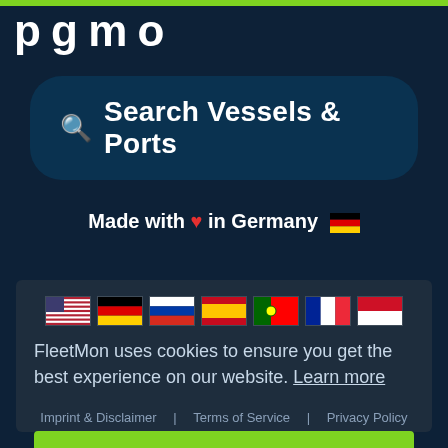[Figure (logo): FleetMon logo partial text visible at top left]
Search Vessels & Ports
Made with ❤ in Germany 🇩🇪
[Figure (infographic): Cookie consent banner with country flags (US, Germany, Russia, Spain, Portugal, France, Indonesia), cookie notice text, footer links, and Got it button]
FleetMon uses cookies to ensure you get the best experience on our website. Learn more
Imprint & Disclaimer | Terms of Service | Privacy Policy